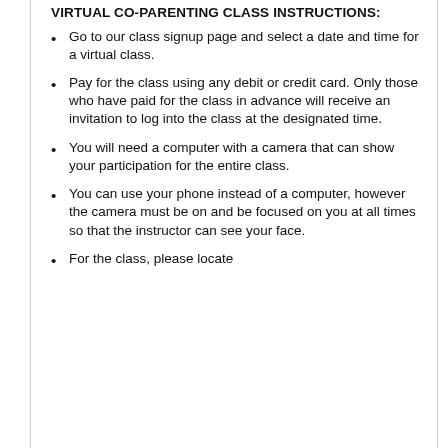VIRTUAL CO-PARENTING CLASS INSTRUCTIONS:
Go to our class signup page and select a date and time for a virtual class.
Pay for the class using any debit or credit card. Only those who have paid for the class in advance will receive an invitation to log into the class at the designated time.
You will need a computer with a camera that can show your participation for the entire class.
You can use your phone instead of a computer, however the camera must be on and be focused on you at all times so that the instructor can see your face.
For the class, please locate